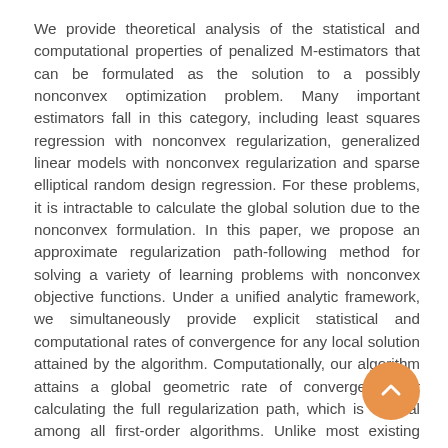We provide theoretical analysis of the statistical and computational properties of penalized M-estimators that can be formulated as the solution to a possibly nonconvex optimization problem. Many important estimators fall in this category, including least squares regression with nonconvex regularization, generalized linear models with nonconvex regularization and sparse elliptical random design regression. For these problems, it is intractable to calculate the global solution due to the nonconvex formulation. In this paper, we propose an approximate regularization path-following method for solving a variety of learning problems with nonconvex objective functions. Under a unified analytic framework, we simultaneously provide explicit statistical and computational rates of convergence for any local solution attained by the algorithm. Computationally, our algorithm attains a global geometric rate of convergence for calculating the full regularization path, which is optimal among all first-order algorithms. Unlike most existing methods that only attain geometric rates of convergence for one single regularization parameter, our algorithm calculates the full regularization path with the same iteration complexity. In particular, we provide a refined iteration complexity bound to sharply characterize the performance of each stage along the